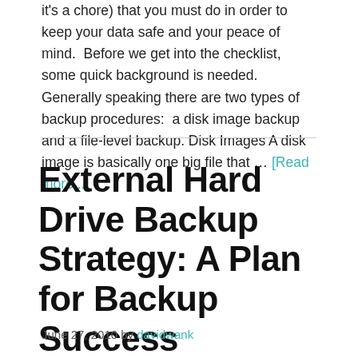it's a chore) that you must do in order to keep your data safe and your peace of mind.  Before we get into the checklist, some quick background is needed.  Generally speaking there are two types of backup procedures:  a disk image backup and a file-level backup. Disk Images A disk image is basically one big file that … [Read more...]
External Hard Drive Backup Strategy: A Plan for Backup Success
June 27, 2010 by davidwank